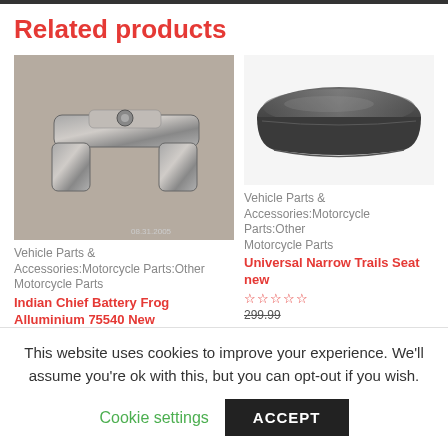Related products
[Figure (photo): Photo of an Indian Chief Battery Frog Alluminium 75540 motorcycle part, metallic silver/grey bracket-like component on a concrete background, with date stamp 08.31.2005]
Vehicle Parts & Accessories:Motorcycle Parts:Other Motorcycle Parts
Indian Chief Battery Frog Alluminium 75540 New
[Figure (photo): Photo of a Universal Narrow Trails Seat new, a flat dark grey/black motorcycle seat on white background]
Vehicle Parts & Accessories:Motorcycle Parts:Other Motorcycle Parts
Universal Narrow Trails Seat new
☆☆☆☆☆
This website uses cookies to improve your experience. We'll assume you're ok with this, but you can opt-out if you wish.
Cookie settings
ACCEPT